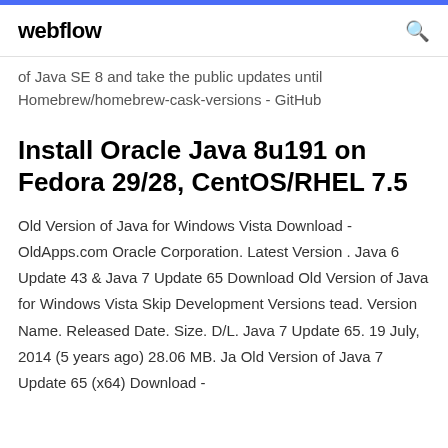webflow
of Java SE 8 and take the public updates until Homebrew/homebrew-cask-versions - GitHub
Install Oracle Java 8u191 on Fedora 29/28, CentOS/RHEL 7.5
Old Version of Java for Windows Vista Download - OldApps.com Oracle Corporation. Latest Version . Java 6 Update 43 & Java 7 Update 65 Download Old Version of Java for Windows Vista Skip Development Versions tead. Version Name. Released Date. Size. D/L. Java 7 Update 65. 19 July, 2014 (5 years ago) 28.06 MB. Ja Old Version of Java 7 Update 65 (x64) Download -